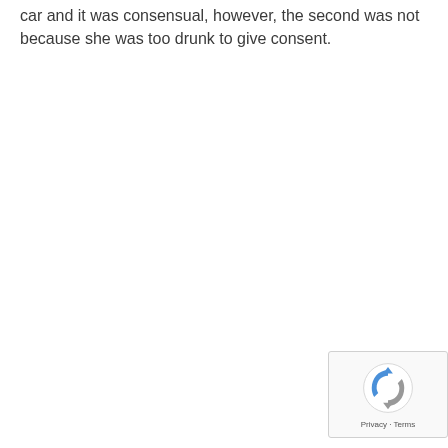car and it was consensual, however, the second was not because she was too drunk to give consent.
[Figure (other): reCAPTCHA widget showing the reCAPTCHA logo with Privacy and Terms links]